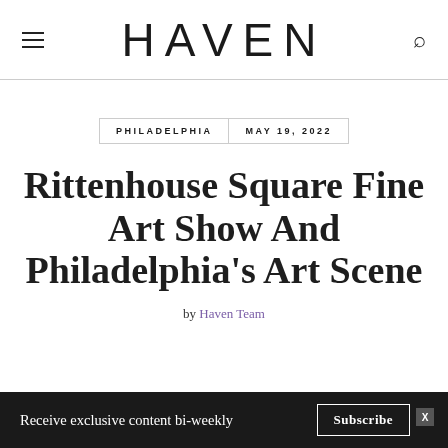HAVEN
PHILADELPHIA   MAY 19, 2022
Rittenhouse Square Fine Art Show And Philadelphia's Art Scene
by Haven Team
Receive exclusive content bi-weekly   Subscribe